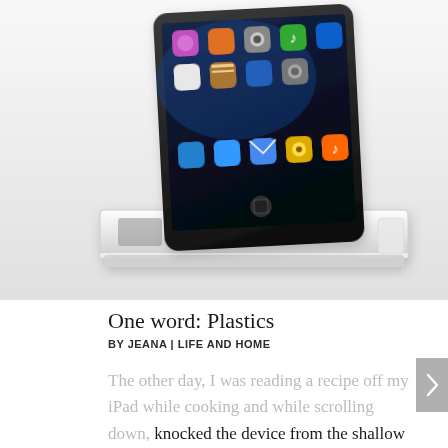[Figure (photo): An iPad displayed on a transparent acrylic/crystal stand/dock, showing the iOS home screen with app icons. The stand is a clear rectangular block with a slot holding the iPad upright. White background.]
One word: Plastics
BY JEANA | LIFE AND HOME
The other day, I was reading a recipe off my iPad while cooking and while scrolling down, knocked the device from the shallow groove that it was propped on and...anyone have any